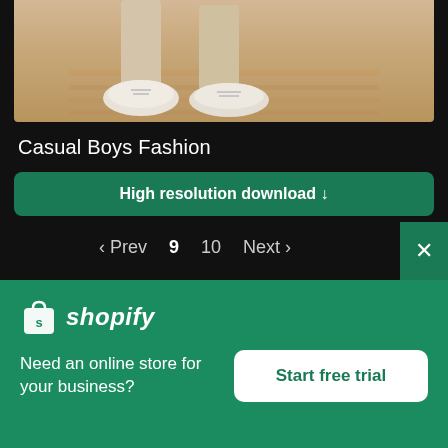[Figure (photo): Partial photo showing the lower legs and feet of a person wearing light khaki pants and white sneakers, sitting on a wooden floor. Only the bottom portion of the image is visible.]
Casual Boys Fashion
High resolution download ↓
‹ Prev  9  10  Next ›
[Figure (logo): Shopify logo — white shopping bag icon with 'S' and italic text 'shopify' in white]
Need an online store for your business?
Start free trial